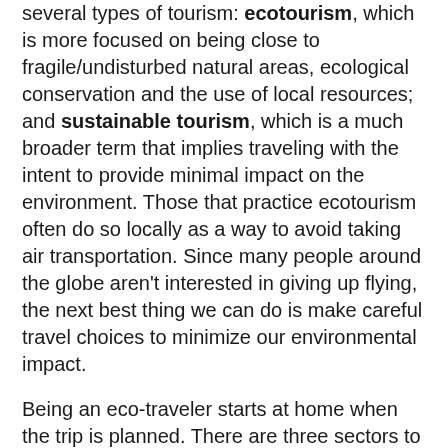several types of tourism: ecotourism, which is more focused on being close to fragile/undisturbed natural areas, ecological conservation and the use of local resources; and sustainable tourism, which is a much broader term that implies traveling with the intent to provide minimal impact on the environment. Those that practice ecotourism often do so locally as a way to avoid taking air transportation. Since many people around the globe aren't interested in giving up flying, the next best thing we can do is make careful travel choices to minimize our environmental impact.
Being an eco-traveler starts at home when the trip is planned. There are three sectors to take into consideration when arranging a sustainable vacation: the destination, flights, and accommodations.
Destination: Plan a vacation in a town that offers easy exploration by bike or foot, rather than having